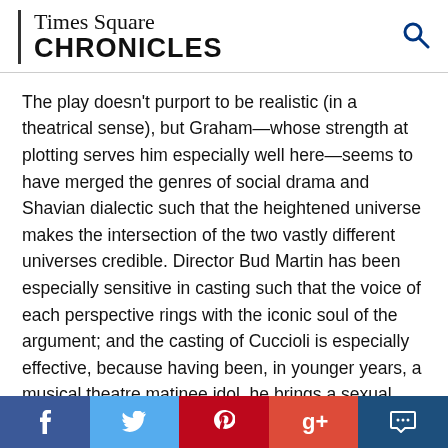Times Square CHRONICLES
The play doesn't purport to be realistic (in a theatrical sense), but Graham—whose strength at plotting serves him especially well here—seems to have merged the genres of social drama and Shavian dialectic such that the heightened universe makes the intersection of the two vastly different universes credible. Director Bud Martin has been especially sensitive in casting such that the voice of each perspective rings with the iconic soul of the argument; and the casting of Cuccioli is especially effective, because having been, in younger years, a musical theatre matinee idol, he brings a sexual energy to Ray that adds to the first arc of suspense right until the hi...
[Figure (infographic): Social media sharing bar with Facebook, Twitter, Pinterest, Google+, and comment icons]